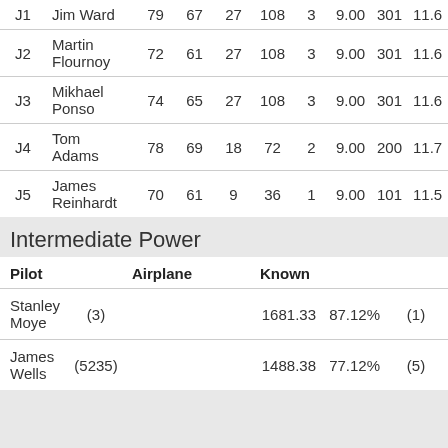| Judge | Name | p | p | np | npp | n | Pll | Pg | ... |
| --- | --- | --- | --- | --- | --- | --- | --- | --- | --- |
| J1 | Jim Ward | 79 | 67 | 27 | 108 | 3 | 9.00 | 301 | 11.6 |
| J2 | Martin Flournoy | 72 | 61 | 27 | 108 | 3 | 9.00 | 301 | 11.6 |
| J3 | Mikhael Ponso | 74 | 65 | 27 | 108 | 3 | 9.00 | 301 | 11.6 |
| J4 | Tom Adams | 78 | 69 | 18 | 72 | 2 | 9.00 | 200 | 11.7 |
| J5 | James Reinhardt | 70 | 61 | 9 | 36 | 1 | 9.00 | 101 | 11.5 |
Intermediate Power
| Pilot |  | Airplane |  | Known |  |  |
| --- | --- | --- | --- | --- | --- | --- |
| Stanley Moye | (3) |  |  | 1681.33 | 87.12% | (1) |
| James Wells | (5235) |  |  | 1488.38 | 77.12% | (5) |